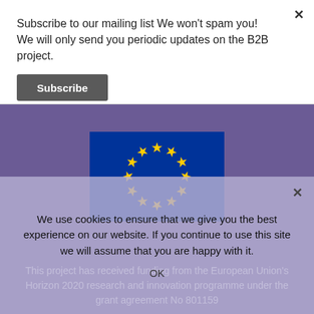Subscribe to our mailing list We won't spam you! We will only send you periodic updates on the B2B project.
Subscribe
[Figure (illustration): European Union flag with 12 yellow stars in a circle on a blue background, displayed within a purple background section]
This project has received funding from the European Union's Horizon 2020 research and innovation programme under the grant agreement No 801159
We use cookies to ensure that we give you the best experience on our website. If you continue to use this site we will assume that you are happy with it.
OK